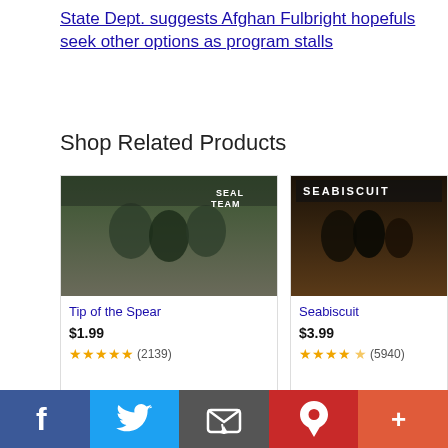State Dept. suggests Afghan Fulbright hopefuls seek other options as program stalls
Shop Related Products
[Figure (photo): Movie cover for Tip of the Spear showing military soldiers in tactical gear with SEAL TEAM logo]
Tip of the Spear
$1.99
★★★★★ (2139)
[Figure (photo): Movie poster for Seabiscuit showing silhouetted figures with SEABISCUIT title]
Seabiscuit
$3.99
★★★★☆ (5940)
[Figure (photo): Movie cover for Sea Gypsies showing group of people in red clothing with SEA GYPSIES text]
[Figure (photo): Movie cover for Red Sea showing underwater scene with RED SEA title]
Social sharing bar with Facebook, Twitter, Email, Pinterest, and More buttons